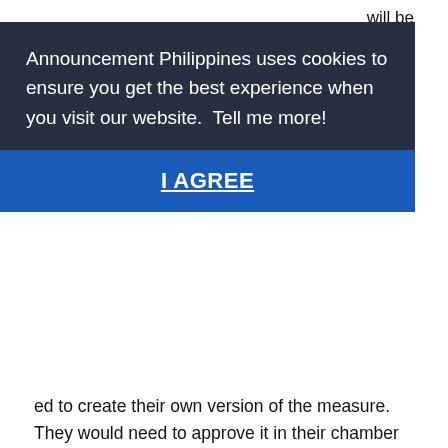will be
[Figure (screenshot): Cookie consent modal overlay with dark navy background. Text reads: 'Announcement Philippines uses cookies to ensure you get the best experience when you visit our website. Tell me more!' followed by a blue 'I AGREE' button with underline.]
ed to create their own version of the measure. They would need to approve it in their chamber and that would make it effective. In case you don't remember; the Medical Reserve Corps is one of the plans of our dearest President Rodrigo Duterte; he even approved of its institution in his fifth (5th) State of the Nation Address (SONA).